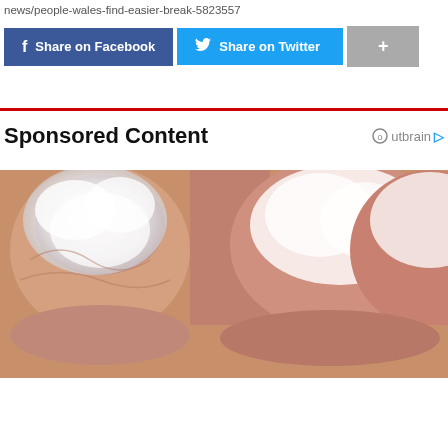news/people-wales-find-easier-break-5823557
Share on Facebook | Share on Twitter | +
Sponsored Content
[Figure (photo): Close-up photo of toes with a white cream or ointment applied to fungal nails]